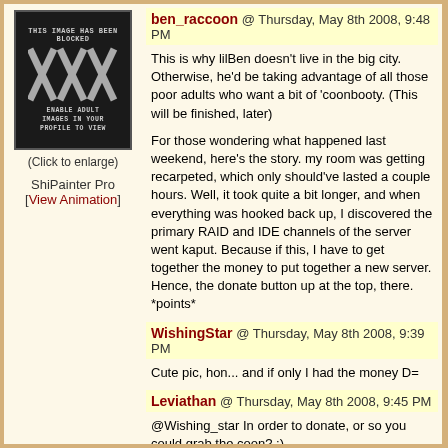[Figure (screenshot): Blocked adult image placeholder showing 'THIS IMAGE HAS BEEN BLOCKED' text, XXX graphic, and 'ENABLE ADULT IMAGES IN YOUR PROFILE TO VIEW' text on black background]
(Click to enlarge)
ShiPainter Pro
[View Animation]
ben_raccoon @ Thursday, May 8th 2008, 9:48 PM
This is why lilBen doesn't live in the big city. Otherwise, he'd be taking advantage of all those poor adults who want a bit of 'coonbooty. (This will be finished, later)
For those wondering what happened last weekend, here's the story. my room was getting recarpeted, which only should've lasted a couple hours. Well, it took quite a bit longer, and when everything was hooked back up, I discovered the primary RAID and IDE channels of the server went kaput. Because if this, I have to get together the money to put together a new server. Hence, the donate button up at the top, there. *points*
WishingStar @ Thursday, May 8th 2008, 9:39 PM
Cute pic, hon... and if only I had the money D=
Leviathan @ Thursday, May 8th 2008, 9:45 PM
@Wishing_star In order to donate, or so you could grab the coon? ;)
I'd personally be interested if a donation gets any favors from the boy. ;)